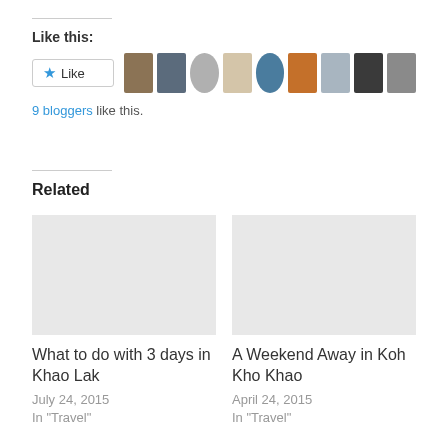Like this:
[Figure (other): Like button with star icon and row of 9 blogger avatar thumbnails]
9 bloggers like this.
Related
What to do with 3 days in Khao Lak
July 24, 2015
In "Travel"
A Weekend Away in Koh Kho Khao
April 24, 2015
In "Travel"